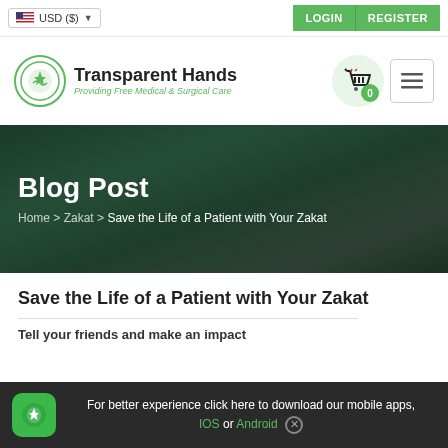USD ($) | LOGIN | REGISTER
[Figure (logo): Transparent Hands logo with green circular emblem and tagline 'Providing Free Medical & Surgical Care']
Blog Post
Home > Zakat > Save the Life of a Patient with Your Zakat
Save the Life of a Patient with Your Zakat
Tell your friends and make an impact
For better experience click here to download our mobile apps, IOS or Android